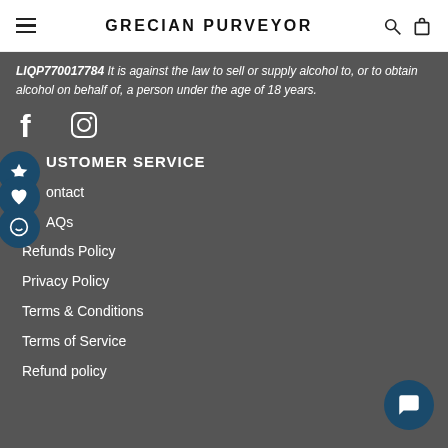GRECIAN PURVEYOR
LIQP770017784 It is against the law to sell or supply alcohol to, or to obtain alcohol on behalf of, a person under the age of 18 years.
[Figure (illustration): Facebook and Instagram social media icons in white]
CUSTOMER SERVICE
Contact
FAQs
Refunds Policy
Privacy Policy
Terms & Conditions
Terms of Service
Refund policy